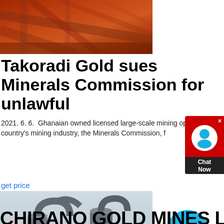[Figure (photo): Industrial mining equipment, orange/red metal structures]
Takoradi Gold sues Minerals Commission for unlawful
2021. 6. 6.  Ghanaian owned licensed large-scale mining operator Takoradi Gold Ghana Limited is suing the regula the country's mining industry, the Minerals Commission, f
get price
[Figure (photo): Industrial mining plant with large cylindrical equipment, conveyors, and smokestacks. Timestamp: 2012/08/00 14:39]
CHIRANO GOLD MINES LIMITED